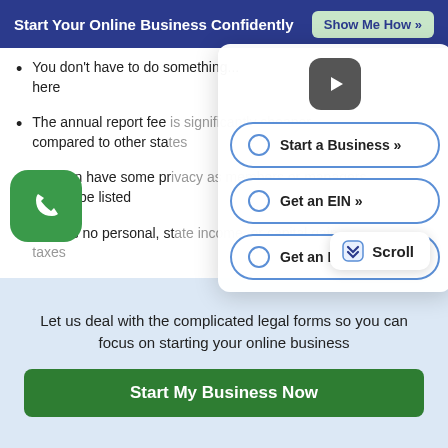Start Your Online Business Confidently  Show Me How »
You don't have to do something... here
The annual report fee is significantly cheaper compared to other states
You can have some privacy as members or managers will not be listed
There's no personal, state income, or capital gain taxes
[Figure (screenshot): Overlay panel with video play button and three option buttons: Start a Business », Get an EIN », Get an ITIN »]
[Figure (screenshot): Scroll tooltip with double chevron icon and text 'Scroll']
[Figure (screenshot): Green phone/call button in bottom left]
Let us deal with the complicated legal forms so you can focus on starting your online business
Start My Business Now